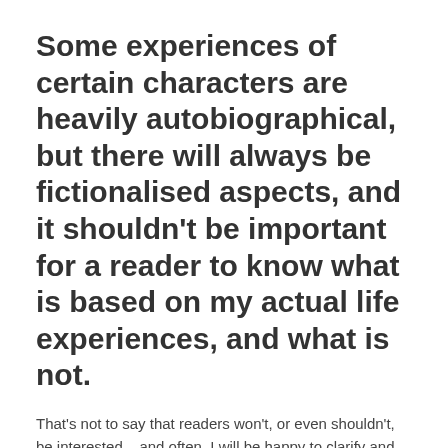Some experiences of certain characters are heavily autobiographical, but there will always be fictionalised aspects, and it shouldn't be important for a reader to know what is based on my actual life experiences, and what is not.
That's not to say that readers won't, or even shouldn't, be interested – and often, I will be happy to clarify and share my own stories, since I'm a naturally open person.
There is definitely an element of therapy